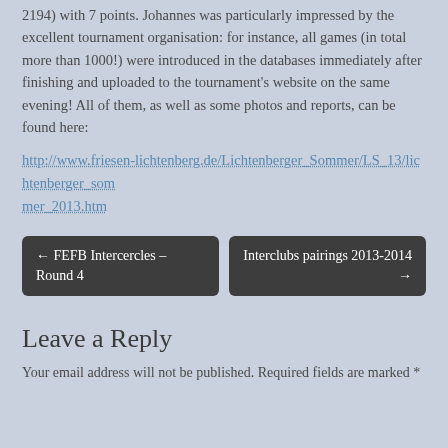2194) with 7 points. Johannes was particularly impressed by the excellent tournament organisation: for instance, all games (in total more than 1000!) were introduced in the databases immediately after finishing and uploaded to the tournament's website on the same evening! All of them, as well as some photos and reports, can be found here:
http://www.friesen-lichtenberg.de/Lichtenberger_Sommer/LS_13/lichtenberger_sommer_2013.htm
← FEFB Intercercles – Round 4
Interclubs pairings 2013-2014 →
Leave a Reply
Your email address will not be published. Required fields are marked *